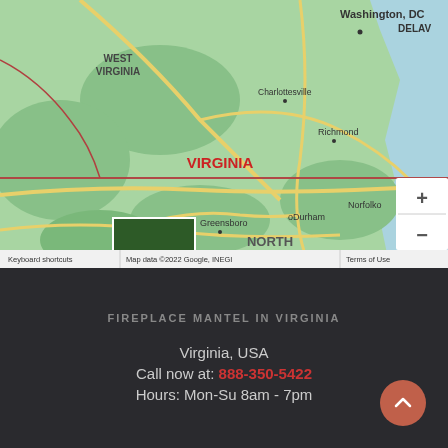[Figure (map): Google Maps screenshot showing Virginia, West Virginia, North Carolina region with cities labeled: Washington DC, DELAV, Charlottesville, Richmond, VIRGINIA, Norfolk, Virgini, Greensboro, Durham, NORTH CAROLINA, Charlotte, and a Google logo. Map controls (zoom + and -) visible on right side. Footer shows: Keyboard shortcuts | Map data ©2022 Google, INEGI | Terms of Use]
FIREPLACE MANTEL IN VIRGINIA
Virginia, USA
Call now at: 888-350-5422
Hours: Mon-Su 8am - 7pm